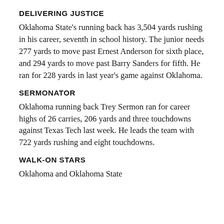DELIVERING JUSTICE
Oklahoma State's running back has 3,504 yards rushing in his career, seventh in school history. The junior needs 277 yards to move past Ernest Anderson for sixth place, and 294 yards to move past Barry Sanders for fifth. He ran for 228 yards in last year's game against Oklahoma.
SERMONATOR
Oklahoma running back Trey Sermon ran for career highs of 26 carries, 206 yards and three touchdowns against Texas Tech last week. He leads the team with 722 yards rushing and eight touchdowns.
WALK-ON STARS
Oklahoma and Oklahoma State